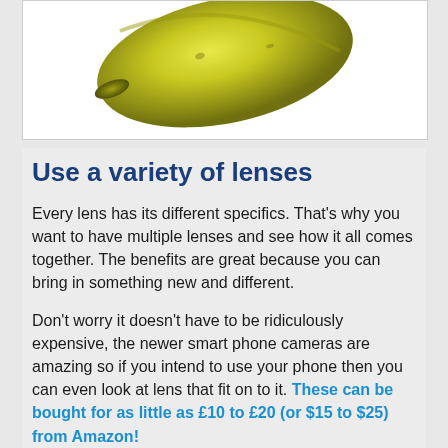[Figure (photo): Partial view of a yellow-green banana against a white background, cropped so only the lower portion is visible.]
Use a variety of lenses
Every lens has its different specifics. That's why you want to have multiple lenses and see how it all comes together. The benefits are great because you can bring in something new and different.
Don't worry it doesn't have to be ridiculously expensive, the newer smart phone cameras are amazing so if you intend to use your phone then you can even look at lens that fit on to it. These can be bought for as little as £10 to £20 (or $15 to $25) from Amazon!